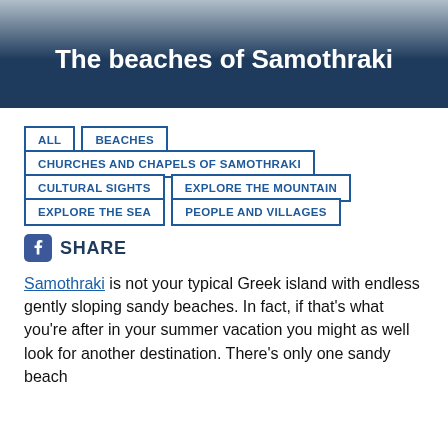The beaches of Samothraki
ALL
BEACHES
CHURCHES AND CHAPELS OF SAMOTHRAKI
CULTURAL SIGHTS
EXPLORE THE MOUNTAIN
EXPLORE THE SEA
PEOPLE AND VILLAGES
SHARE
Samothraki is not your typical Greek island with endless gently sloping sandy beaches. In fact, if that's what you're after in your summer vacation you might as well look for another destination. There's only one sandy beach